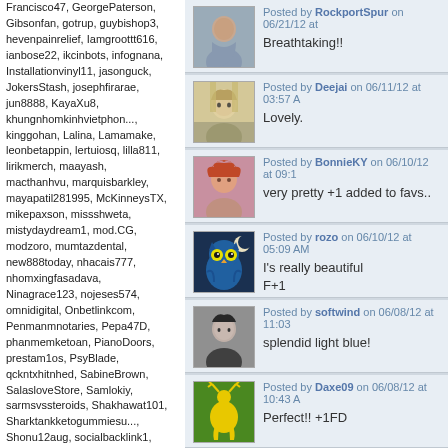Francisco47, GeorgePaterson, Gibsonfan, gotrup, guybishop3, hevenpainrelief, Iamgroottt616, ianbose22, ikcinbots, infognana, Installationvinyl11, jasonguck, JokersStash, josephfirarae, jun8888, KayaXu8, khungnhomkinhvietphon..., kinggohan, Lalina, Lamamake, leonbetappin, lertuiosq, lilla811, lirikmerch, maayash, macthanhvu, marquisbarkley, mayapatil281995, McKinneysTX, mikepaxson, missshweta, mistydaydream1, mod.CG, modzoro, mumtazdental, new888today, nhacais777, nhomxingfasadava, Ninagrace123, nojeses574, omnidigital, Onbetlinkcom, Penmanmnotaries, Pepa47D, phanmemketoan, PianoDoors, prestam1os, PsyBlade, qckntxhitnhed, SabineBrown, SalasloveStore, Samlokiy, sarmsvssteroids, Shakhawat101, Sharktankketogummiesu..., Shonu12aug, socialbacklink1, sonygatla, steverogers9005, susiestravelweb, SwastikPackersinMumba..., taigamekingfunus, texasnurselawyers, theglobalcitysvn24, theparkavenuecity, ThorsenBryan99, tiptopumzug, top10vietnamta, topd026, trainwellnesshike, Tropics777
Posted by RockportSpur on 06/21/12 at
Breathtaking!!
Posted by Deejai on 06/11/12 at 03:57 A
Lovely.
Posted by BonnieKY on 06/10/12 at 09:1
very pretty +1 added to favs..
Posted by rozo on 06/10/12 at 05:09 AM
I's really beautiful
F+1
Posted by softwind on 06/08/12 at 11:03
splendid light blue!
Posted by Daxe09 on 06/08/12 at 10:43 A
Perfect!! +1FD